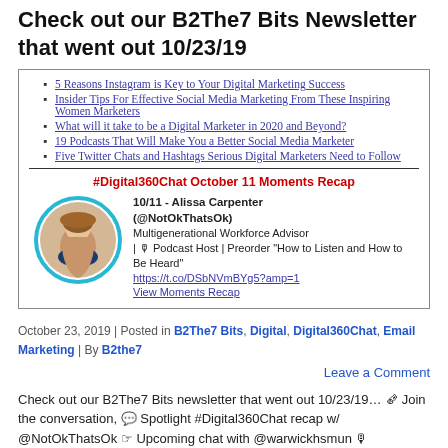Check out our B2The7 Bits Newsletter that went out 10/23/19
[Figure (screenshot): Newsletter preview box containing a bulleted list of article links and a #Digital360Chat October 11 Moments Recap section with a circular profile photo of Alissa Carpenter and bio text.]
October 23, 2019 | Posted in B2The7 Bits, Digital, Digital360Chat, Email Marketing | By B2the7
Leave a Comment
Check out our B2The7 Bits newsletter that went out 10/23/19… 🗞 Join the conversation, 💬 Spotlight #Digital360Chat recap w/ @NotOkThatsOk ☞ Upcoming chat with @warwickhsmun 🎙